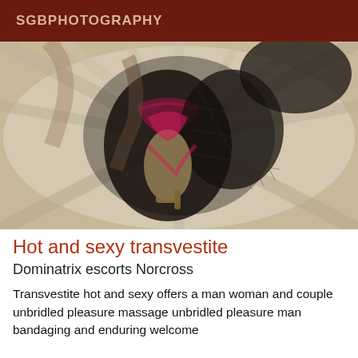SGBPHOTOGRAPHY
[Figure (photo): Close-up photograph of a person in black lingerie, fishnet stockings, and high heels lying on a white bed]
Hot and sexy transvestite
Dominatrix escorts Norcross
Transvestite hot and sexy offers a man woman and couple unbridled pleasure massage unbridled pleasure man bandaging and enduring welcome